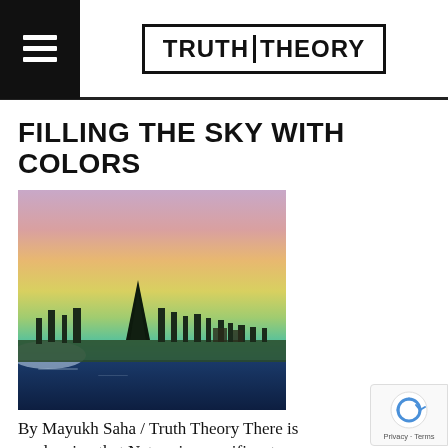TRUTH THEORY
FILLING THE SKY WITH COLORS
[Figure (photo): Landscape photograph showing colorful sky with rainbow-like gradient colors (pink, orange, yellow, green, blue) over a lake with trees and buildings silhouetted on the shoreline]
By Mayukh Saha / Truth Theory There is no denying that Nature is magnificent